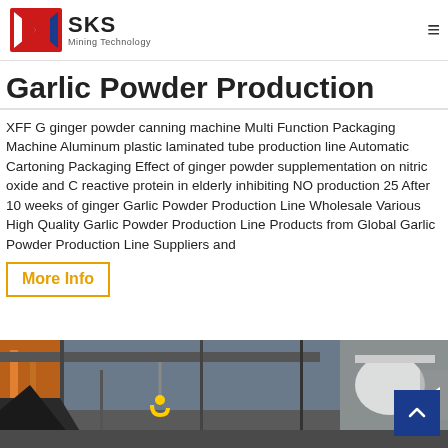SKS Mining Technology
Garlic Powder Production
XFF G ginger powder canning machine Multi Function Packaging Machine Aluminum plastic laminated tube production line Automatic Cartoning Packaging Effect of ginger powder supplementation on nitric oxide and C reactive protein in elderly inhibiting NO production 25 After 10 weeks of ginger Garlic Powder Production Line Wholesale Various High Quality Garlic Powder Production Line Products from Global Garlic Powder Production Line Suppliers and
More Info
[Figure (photo): Industrial facility interior showing overhead crane with hook, metal structures, and bright lighting inside a large workshop or factory building]